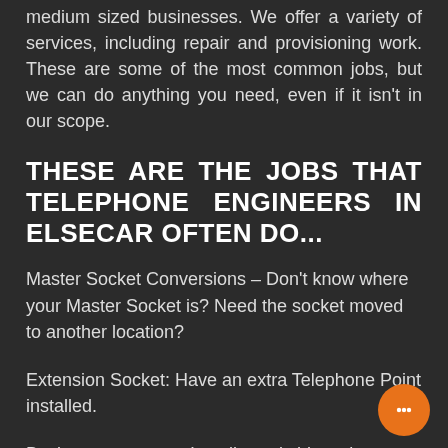medium sized businesses. We offer a variety of services, including repair and provisioning work. These are some of the most common jobs, but we can do anything you need, even if it isn't in our scope.
THESE ARE THE JOBS THAT TELEPHONE ENGINEERS IN ELSECAR OFTEN DO...
Master Socket Conversions – Don't know where your Master Socket is? Need the socket moved to another location?
Extension Socket: Have an extra Telephone Point installed.
Business systems – Install a switchboard system, program extension phone lines, fau...